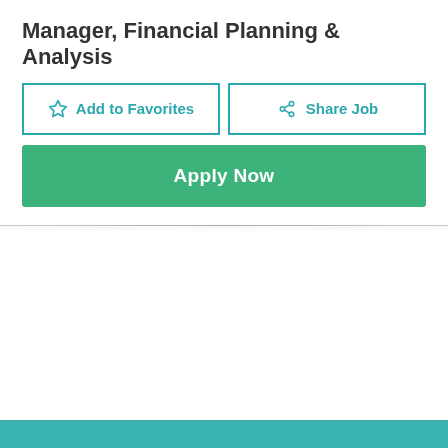Manager, Financial Planning & Analysis
[Figure (screenshot): Two side-by-side buttons: 'Add to Favorites' with a star icon and 'Share Job' with a share icon, both outlined in teal/blue color]
[Figure (screenshot): A large teal/green 'Apply Now' button spanning full width]